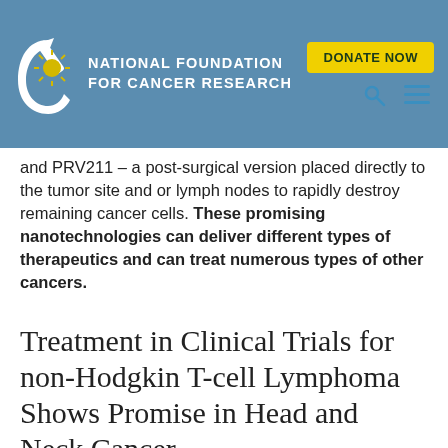National Foundation for Cancer Research
and PRV211 – a post-surgical version placed directly to the tumor site and or lymph nodes to rapidly destroy remaining cancer cells. These promising nanotechnologies can deliver different types of therapeutics and can treat numerous types of other cancers.
Treatment in Clinical Trials for non-Hodgkin T-cell Lymphoma Shows Promise in Head and Neck Cancer